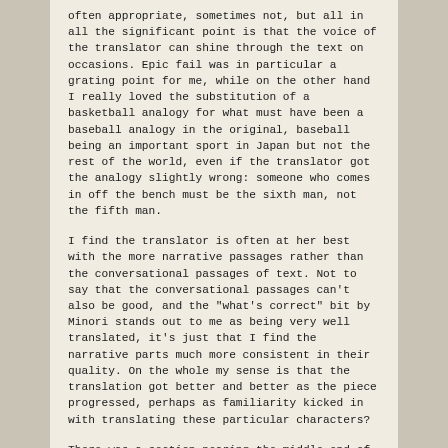often appropriate, sometimes not, but all in all the significant point is that the voice of the translator can shine through the text on occasions. Epic fail was in particular a grating point for me, while on the other hand I really loved the substitution of a basketball analogy for what must have been a baseball analogy in the original, baseball being an important sport in Japan but not the rest of the world, even if the translator got the analogy slightly wrong: someone who comes in off the bench must be the sixth man, not the fifth man.
I find the translator is often at her best with the more narrative passages rather than the conversational passages of text. Not to say that the conversational passages can't also be good, and the "what's correct" bit by Minori stands out to me as being very well translated, it's just that I find the narrative parts much more consistent in their quality. On the whole my sense is that the translation got better and better as the piece progressed, perhaps as familiarity kicked in with translating these particular characters?
There was a section nearing the middle-end of August Snow where the translation suddenly felt a bit weird, and there were some lines that I thought were mistranslated, like the two times "bittersweet" appeared, and there was even a rough translation left in that was obviously meant to be reviewed later ([path that I couldn't set a foot on]). My guess was